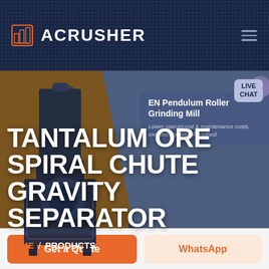ACRUSHER
TANTALUM ORE SPIRAL CHUTE GRAVITY SEPARATOR
EN Pendulum Roller Grinding Mill
Lower operational & maintenance costs, excellent quality of finished...
HOME / PRODUCTS
[Figure (screenshot): ACRUSHER website hero banner showing Tantalum Ore Spiral Chute Gravity Separator with machine image and live chat button]
Get a Quote
WhatsApp